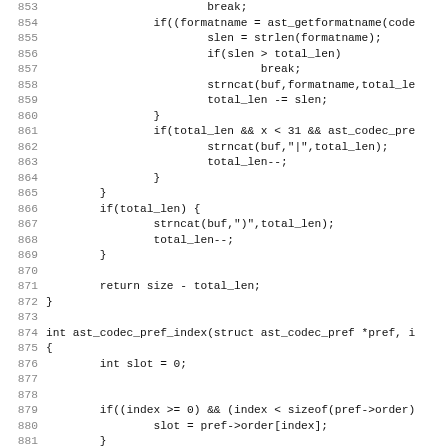[Figure (other): Source code listing in C, lines 853–885, showing codec format name functions including ast_codec_pref_index]